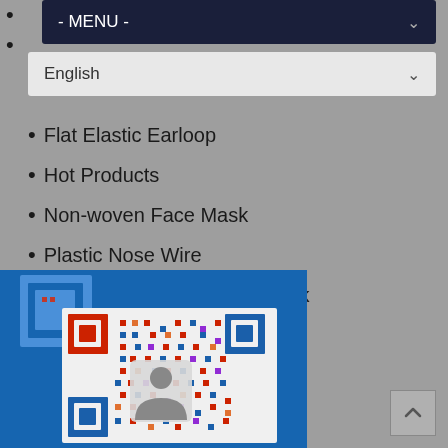- MENU - (dropdown)
English (language selector)
Flat Elastic Earloop
Hot Products
Non-woven Face Mask
Plastic Nose Wire
Printing Dispoable Face Mask
Single Metal Nose Wire
[Figure (photo): QR code image on blue background with a person/contact icon in the center, shown in a blue panel at the bottom left of the page]